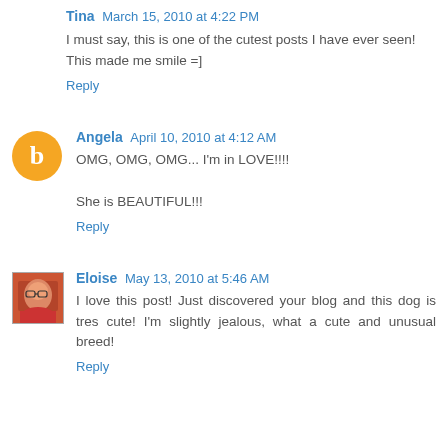Tina March 15, 2010 at 4:22 PM
I must say, this is one of the cutest posts I have ever seen! This made me smile =]
Reply
Angela April 10, 2010 at 4:12 AM
OMG, OMG, OMG... I'm in LOVE!!!!

She is BEAUTIFUL!!!
Reply
Eloise May 13, 2010 at 5:46 AM
I love this post! Just discovered your blog and this dog is tres cute! I'm slightly jealous, what a cute and unusual breed!
Reply